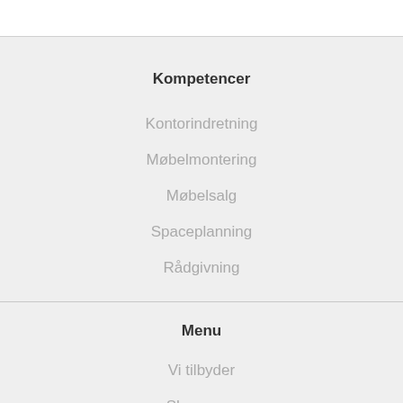Kompetencer
Kontorindretning
Møbelmontering
Møbelsalg
Spaceplanning
Rådgivning
Menu
Vi tilbyder
Showcase